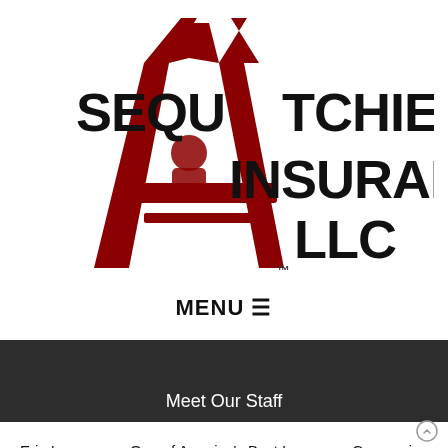[Figure (logo): Sequatchie Valley Insurance LLC logo with red teepee/A-frame graphic and bold black text reading SEQUATCHIE VALLEY INSURANCE LLC with TM mark]
MENU ☰
Meet Our Staff
Erie Insurance - One of America's Best Insurance Companies